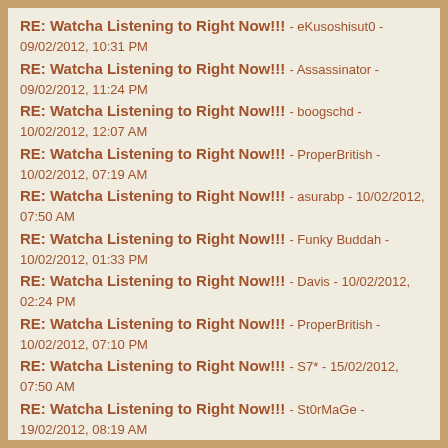RE: Watcha Listening to Right Now!!! - eKusoshisut0 - 09/02/2012, 10:31 PM
RE: Watcha Listening to Right Now!!! - Assassinator - 09/02/2012, 11:24 PM
RE: Watcha Listening to Right Now!!! - boogschd - 10/02/2012, 12:07 AM
RE: Watcha Listening to Right Now!!! - ProperBritish - 10/02/2012, 07:19 AM
RE: Watcha Listening to Right Now!!! - asurabp - 10/02/2012, 07:50 AM
RE: Watcha Listening to Right Now!!! - Funky Buddah - 10/02/2012, 01:33 PM
RE: Watcha Listening to Right Now!!! - Davis - 10/02/2012, 02:24 PM
RE: Watcha Listening to Right Now!!! - ProperBritish - 10/02/2012, 07:10 PM
RE: Watcha Listening to Right Now!!! - S7* - 15/02/2012, 07:50 AM
RE: Watcha Listening to Right Now!!! - St0rMaGe - 19/02/2012, 08:19 AM
RE: Watcha Listening to Right Now!!! - Davis - 19/02/2012, 09:51 AM
RE: Watcha Listening to Right Now!!! - eKusoshisut0 - 19/02/2012, 02:29 PM
RE: Watcha Listening to Right Now!!! - 1-R - 22/02/2012, 01:53 PM
RE: Watcha Listening to Right Now!!! - Davis - 23/02/2012, 09:17 AM
RE: Watcha Listening to Right Now!!! - eKusoshisut0 - 23/02/2012, 04:26 PM
RE: Watcha Listening to Right Now!!! - Vacui Natale - 23/02/2012,